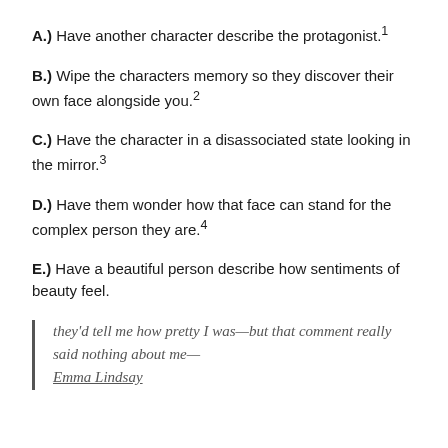A.) Have another character describe the protagonist.¹
B.) Wipe the characters memory so they discover their own face alongside you.²
C.) Have the character in a disassociated state looking in the mirror.³
D.) Have them wonder how that face can stand for the complex person they are.⁴
E.) Have a beautiful person describe how sentiments of beauty feel.
they'd tell me how pretty I was—but that comment really said nothing about me— Emma Lindsay